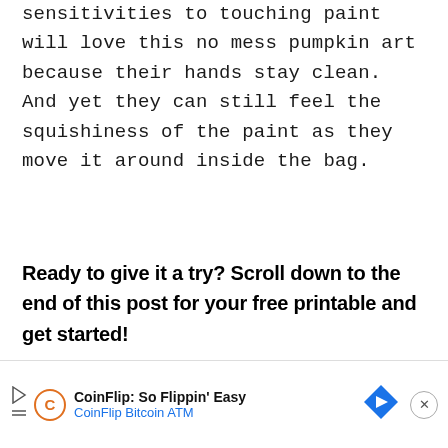sensitivities to touching paint will love this no mess pumpkin art because their hands stay clean. And yet they can still feel the squishiness of the paint as they move it around inside the bag.
Ready to give it a try? Scroll down to the end of this post for your free printable and get started!
[Figure (other): CoinFlip Bitcoin ATM advertisement banner with play icon, CoinFlip logo C in orange circle, text 'CoinFlip: So Flippin' Easy' and 'CoinFlip Bitcoin ATM', blue diamond arrow icon, and close button]